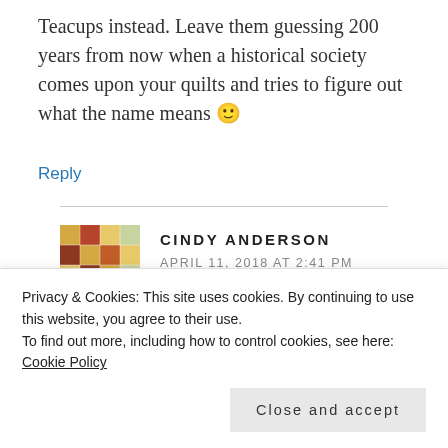Teacups instead. Leave them guessing 200 years from now when a historical society comes upon your quilts and tries to figure out what the name means 🙂
Reply
CINDY ANDERSON
APRIL 11, 2018 AT 2:41 PM
[Figure (photo): Avatar image of Cindy Anderson showing a colorful quilt with orange, red, yellow and cream patches, with a watermark/copyright notice]
Very good questions Tierney! 🙂
Privacy & Cookies: This site uses cookies. By continuing to use this website, you agree to their use.
To find out more, including how to control cookies, see here: Cookie Policy
Close and accept